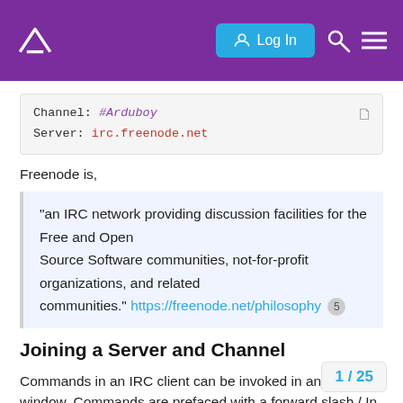[Figure (screenshot): Purple navigation bar with house logo on the left, a cyan 'Log In' button in the center-right, a search icon, and a hamburger menu icon on the right.]
Channel:  #Arduboy
Server:   irc.freenode.net
Freenode is,
“an IRC network providing discussion facilities for the Free and Open Source Software communities, not-for-profit organizations, and related communities.” https://freenode.net/philosophy 5
Joining a Server and Channel
Commands in an IRC client can be invoked in any chat window. Commands are prefaced with a forward slash /  In the case of weechat, to connect to a server, you add th server list and then connect to it.
1 / 25